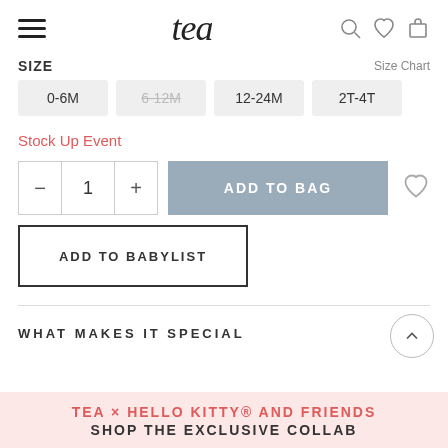tea — navigation bar with hamburger menu, logo, search, wishlist, bag icons
SIZE   Size Chart
0-6M
6-12M (strikethrough/unavailable)
12-24M
2T-4T
Stock Up Event
Quantity: 1 — ADD TO BAG
ADD TO BABYLIST
WHAT MAKES IT SPECIAL
TEA × HELLO KITTY® AND FRIENDS  SHOP THE EXCLUSIVE COLLAB